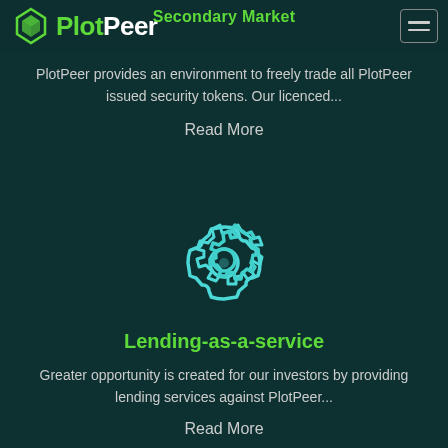Secondary Market
[Figure (logo): PlotPeer logo with green diamond icon and PlotPeer wordmark in green and white]
PlotPeer provides an environment to freely trade all PlotPeer issued security tokens. Our licenced...
Read More
[Figure (illustration): Teal gear/settings icon]
Lending-as-a-service
Greater opportunity is created for our investors by providing lending services against PlotPeer...
Read More